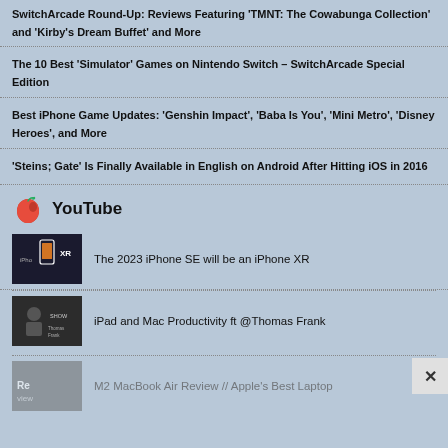SwitchArcade Round-Up: Reviews Featuring 'TMNT: The Cowabunga Collection' and 'Kirby's Dream Buffet' and More
The 10 Best 'Simulator' Games on Nintendo Switch – SwitchArcade Special Edition
Best iPhone Game Updates: 'Genshin Impact', 'Baba Is You', 'Mini Metro', 'Disney Heroes', and More
'Steins; Gate' Is Finally Available in English on Android After Hitting iOS in 2016
YouTube
The 2023 iPhone SE will be an iPhone XR
iPad and Mac Productivity ft @Thomas Frank
M2 MacBook Air Review // Apple's Best Laptop